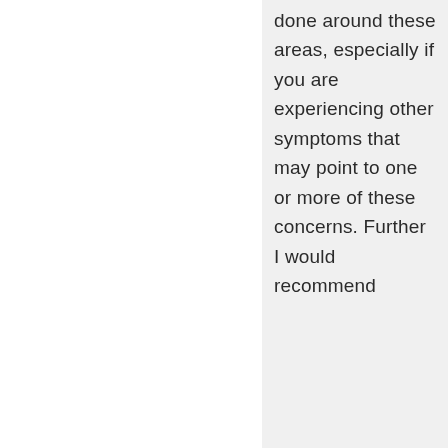done around these areas, especially if you are experiencing other symptoms that may point to one or more of these concerns. Further I would recommend